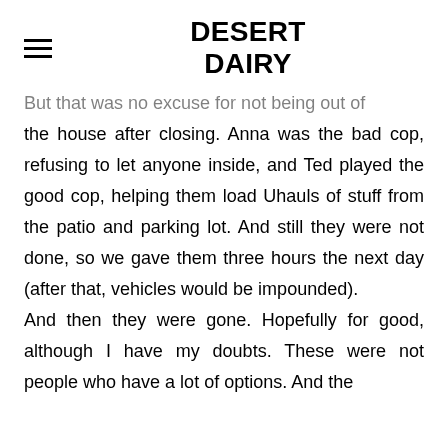DESERT DAIRY
But that was no excuse for not being out of the house after closing. Anna was the bad cop, refusing to let anyone inside, and Ted played the good cop, helping them load Uhauls of stuff from the patio and parking lot. And still they were not done, so we gave them three hours the next day (after that, vehicles would be impounded). And then they were gone. Hopefully for good, although I have my doubts. These were not people who have a lot of options. And the